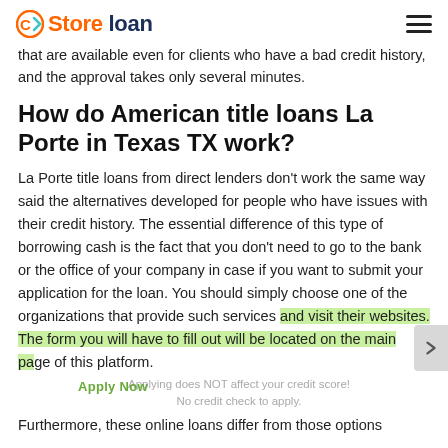Store loan
that are available even for clients who have a bad credit history, and the approval takes only several minutes.
How do American title loans La Porte in Texas TX work?
La Porte title loans from direct lenders don't work the same way said the alternatives developed for people who have issues with their credit history. The essential difference of this type of borrowing cash is the fact that you don't need to go to the bank or the office of your company in case if you want to submit your application for the loan. You should simply choose one of the organizations that provide such services and visit their websites. The form you will have to fill out will be located on the main page of this platform.
Applying does NOT affect your credit score! No credit check to apply.
Furthermore, these online loans differ from those options